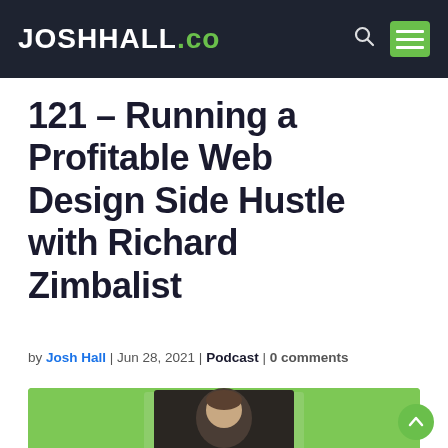JOSHHALL.co
121 – Running a Profitable Web Design Side Hustle with Richard Zimbalist
by Josh Hall | Jun 28, 2021 | Podcast | 0 comments
[Figure (photo): Green background with a portrait photo of a man (Richard Zimbalist) visible at the bottom of the page]